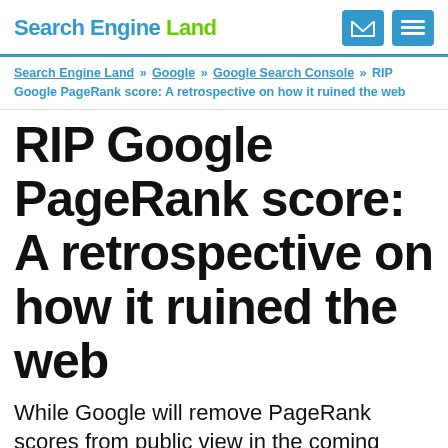Search Engine Land
Search Engine Land » Google » Google Search Console » RIP Google PageRank score: A retrospective on how it ruined the web
RIP Google PageRank score: A retrospective on how it ruined the web
While Google will remove PageRank scores from public view in the coming weeks, the way those scores dramatically reshaped the web will remain.